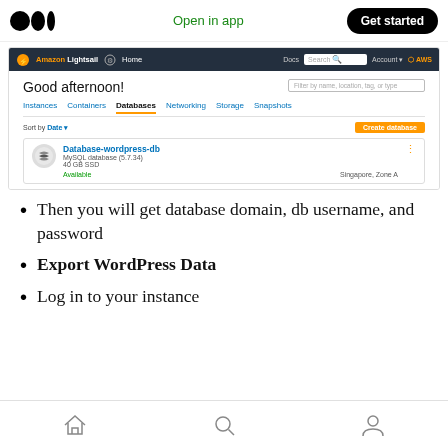Open in app | Get started
[Figure (screenshot): Amazon Lightsail console screenshot showing the Databases tab with one entry: Database-wordpress-db, MySQL database (5.7.34), 40 GB SSD, Available, Singapore Zone A. Navigation tabs: Instances, Containers, Databases (active), Networking, Storage, Snapshots. Sort by Date. Create database button.]
Then you will get database domain, db username, and password
Export WordPress Data
Log in to your instance
Home | Search | Profile